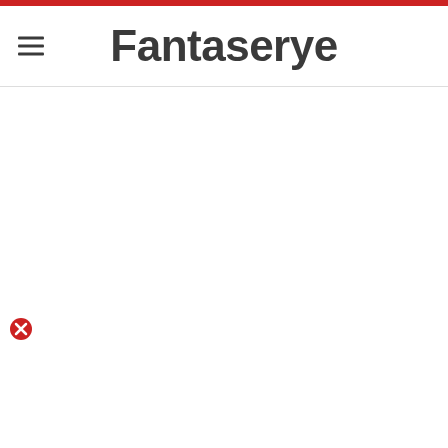Fantaserye
[Figure (other): Red error/close icon badge at bottom left of content area]